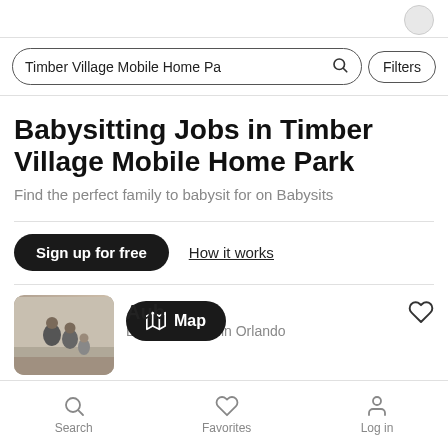Timber Village Mobile Home Pa [search bar with Filters button]
Babysitting Jobs in Timber Village Mobile Home Park
Find the perfect family to babysit for on Babysits
Sign up for free   How it works
[Figure (photo): Listing card for a babysitting job in Orlando showing a photo of people and a Map pill overlay; heart/favorite icon in top right]
Aub
Babysitting job in Orlando
Search   Favorites   Log in